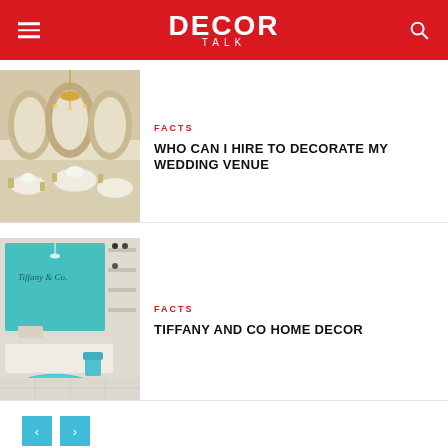DECOR TALK
[Figure (photo): Elegant wedding venue with chandeliers, arched windows, white floral centerpieces on round tables with gold chairs]
FACTS
WHO CAN I HIRE TO DECORATE MY WEDDING VENUE
[Figure (photo): Tiffany & Co. store interior with teal display wall, white counter, and teal ottoman]
FACTS
TIFFANY AND CO HOME DECOR